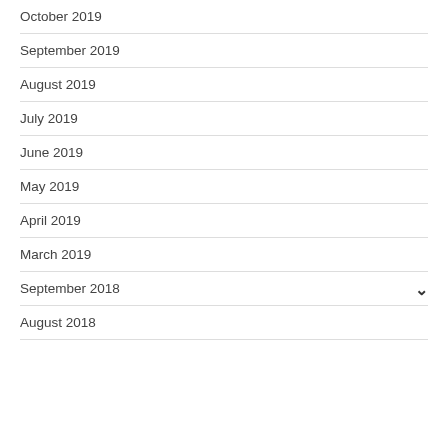October 2019
September 2019
August 2019
July 2019
June 2019
May 2019
April 2019
March 2019
September 2018
August 2018